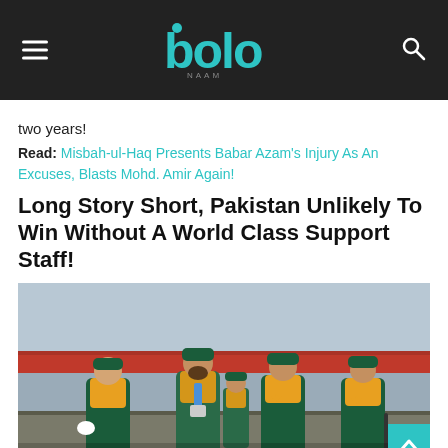bolo (logo header with menu and search)
two years!
Read: Misbah-ul-Haq Presents Babar Azam's Injury As An Excuses, Blasts Mohd. Amir Again!
Long Story Short, Pakistan Unlikely To Win Without A World Class Support Staff!
[Figure (photo): Pakistan cricket team members in green and yellow tracksuits standing and talking on a cricket ground, with stadium seating visible in the background.]